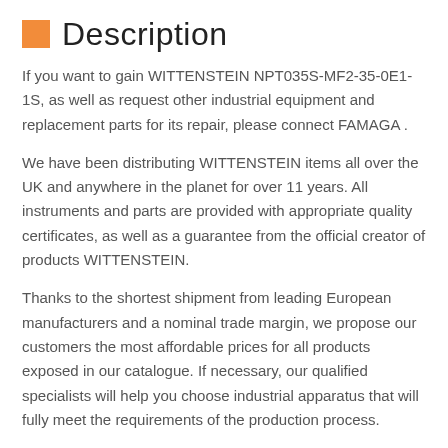Description
If you want to gain WITTENSTEIN NPT035S-MF2-35-0E1-1S, as well as request other industrial equipment and replacement parts for its repair, please connect FAMAGA .
We have been distributing WITTENSTEIN items all over the UK and anywhere in the planet for over 11 years. All instruments and parts are provided with appropriate quality certificates, as well as a guarantee from the official creator of products WITTENSTEIN.
Thanks to the shortest shipment from leading European manufacturers and a nominal trade margin, we propose our customers the most affordable prices for all products exposed in our catalogue. If necessary, our qualified specialists will help you choose industrial apparatus that will fully meet the requirements of the production process.